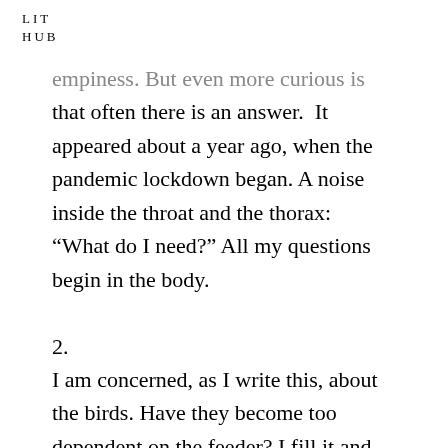L I T
H U B
empiness. But even more curious is that often there is an answer. It appeared about a year ago, when the pandemic lockdown began. A noise inside the throat and the thorax: “What do I need?” All my questions begin in the body.

2.
I am concerned, as I write this, about the birds. Have they become too dependent on the feeder? I fill it and fill it and fill it and still they want for more. In that sense, they are more